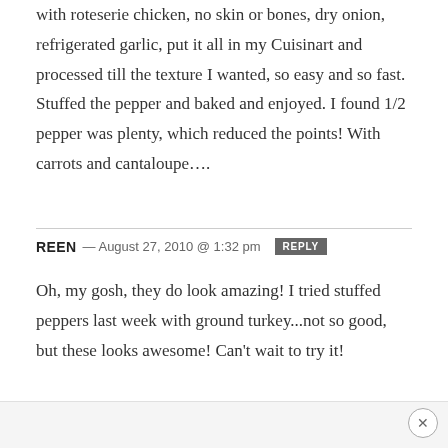with roteserie chicken, no skin or bones, dry onion, refrigerated garlic, put it all in my Cuisinart and processed till the texture I wanted, so easy and so fast. Stuffed the pepper and baked and enjoyed. I found 1/2 pepper was plenty, which reduced the points! With carrots and cantaloupe….
REEN — August 27, 2010 @ 1:32 pm  REPLY
Oh, my gosh, they do look amazing! I tried stuffed peppers last week with ground turkey...not so good, but these looks awesome! Can't wait to try it!